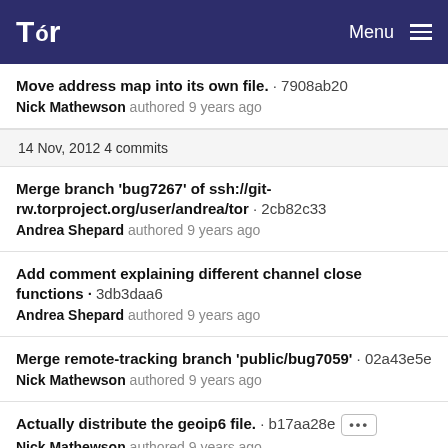Tor  Menu
Move address map into its own file. · 7908ab20
Nick Mathewson authored 9 years ago
14 Nov, 2012 4 commits
Merge branch 'bug7267' of ssh://git-rw.torproject.org/user/andrea/tor · 2cb82c33
Andrea Shepard authored 9 years ago
Add comment explaining different channel close functions · 3db3daa6
Andrea Shepard authored 9 years ago
Merge remote-tracking branch 'public/bug7059' · 02a43e5e
Nick Mathewson authored 9 years ago
Actually distribute the geoip6 file. · b17aa28e [...]
Nick Mathewson authored 9 years ago
13 Nov, 2012 7 commits